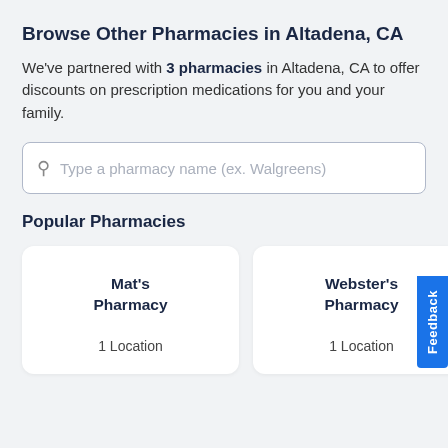Browse Other Pharmacies in Altadena, CA
We've partnered with 3 pharmacies in Altadena, CA to offer discounts on prescription medications for you and your family.
Popular Pharmacies
[Figure (other): Pharmacy card for Mat's Pharmacy, 1 Location]
[Figure (other): Pharmacy card for Webster's Pharmacy, 1 Location]